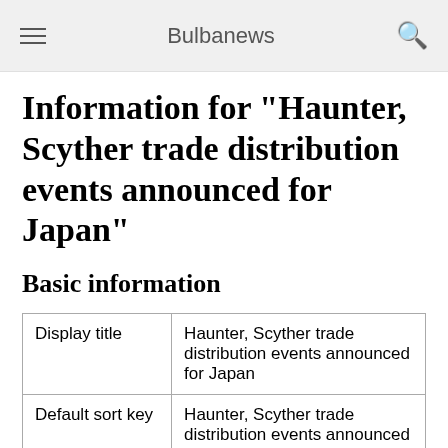Bulbanews
Information for "Haunter, Scyther trade distribution events announced for Japan"
Basic information
| Display title | Haunter, Scyther trade distribution events announced for Japan |
| Default sort key | Haunter, Scyther trade distribution events announced for Japan |
| Page length (in bytes) | 1,962 |